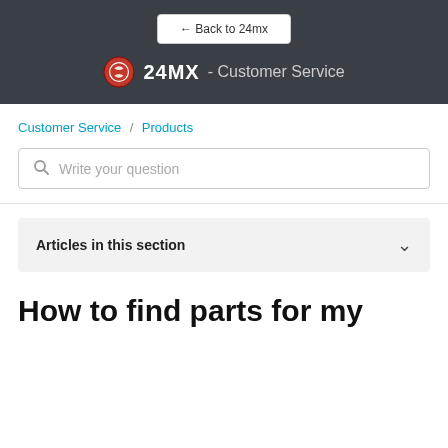← Back to 24mx
24MX - Customer Service
Customer Service / Products
Write your question
Articles in this section
How to find parts for my bike?